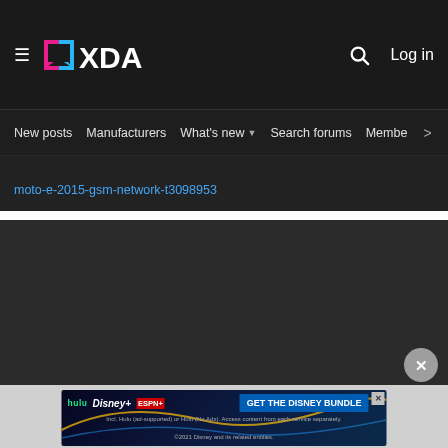XDA Developers — New posts | Manufacturers | What's new | Search forums | Members
moto-e-2015-gsm-network-t3098953
[Figure (screenshot): Dark body content area of XDA forums page]
[Figure (infographic): Disney Bundle advertisement banner: hulu, Disney+, ESPN+ — GET THE DISNEY BUNDLE — Incl. Hulu (ad-supported) or Hulu (No Ads). Access content from each service separately. ©2021 Disney and its related entities.]